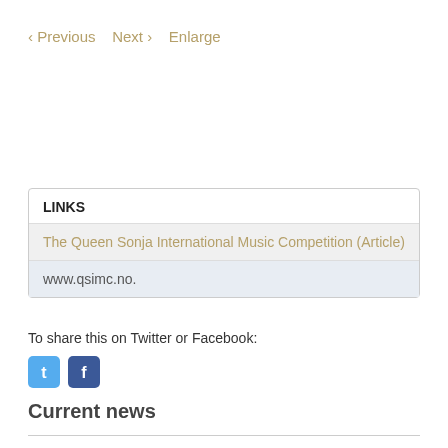‹ Previous   Next ›   Enlarge
LINKS
The Queen Sonja International Music Competition (Article)
www.qsimc.no.
To share this on Twitter or Facebook:
[Figure (illustration): Twitter and Facebook social media share icons]
Current news